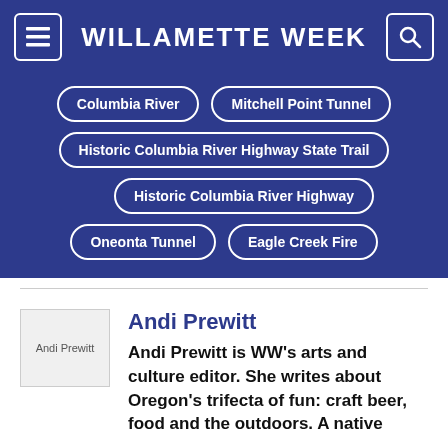WILLAMETTE WEEK
Columbia River
Mitchell Point Tunnel
Historic Columbia River Highway State Trail
Historic Columbia River Highway
Oneonta Tunnel
Eagle Creek Fire
Andi Prewitt
Andi Prewitt is WW's arts and culture editor. She writes about Oregon's trifecta of fun: craft beer, food and the outdoors. A native